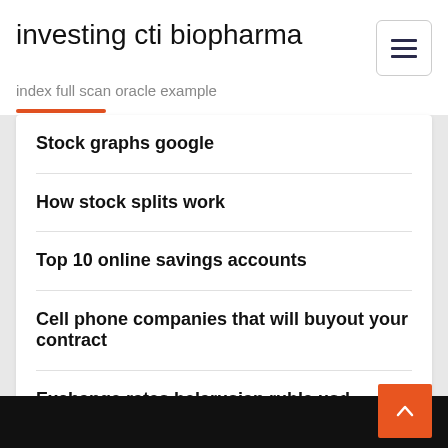investing cti biopharma
index full scan oracle example
Stock graphs google
How stock splits work
Top 10 online savings accounts
Cell phone companies that will buyout your contract
Exchange rates belarusian ruble usd